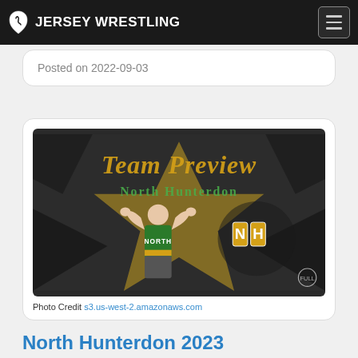JERSEY WRESTLING
Posted on 2022-09-03
[Figure (photo): Team Preview graphic for North Hunterdon wrestling, showing a wrestler in a green 'NORTH' singlet flexing biceps, with the NH lion mascot logo and text 'Team Preview North Hunterdon' on a gold and dark grey background]
Photo Credit s3.us-west-2.amazonaws.com
North Hunterdon 2023